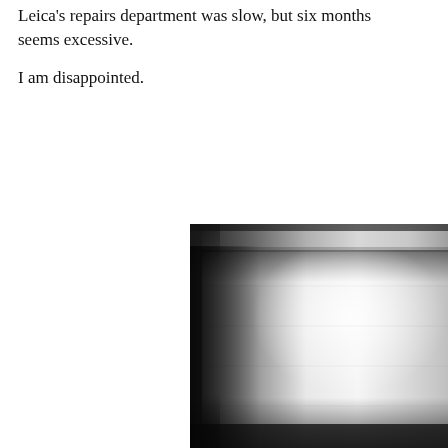Leica's repairs department was slow, but six months seems excessive.

I am disappointed.
[Figure (photo): Close-up photograph of a cylindrical metallic lens or camera component, silver/chrome finish, partially cropped, showing the curved top edge and body against a white background.]